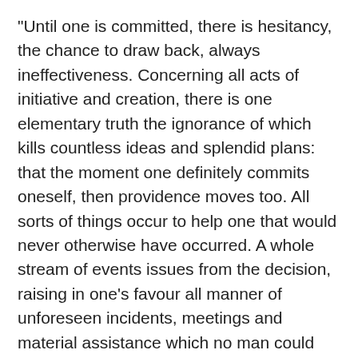“Until one is committed, there is hesitancy, the chance to draw back, always ineffectiveness. Concerning all acts of initiative and creation, there is one elementary truth the ignorance of which kills countless ideas and splendid plans: that the moment one definitely commits oneself, then providence moves too. All sorts of things occur to help one that would never otherwise have occurred. A whole stream of events issues from the decision, raising in one’s favour all manner of unforeseen incidents, meetings and material assistance which no man could have dreamed would have come his way. Whatever you can do or dream you can, begin it. Boldness has genius, power and magic in it. Begin it now.” — Johann Wolfgang von Goethe